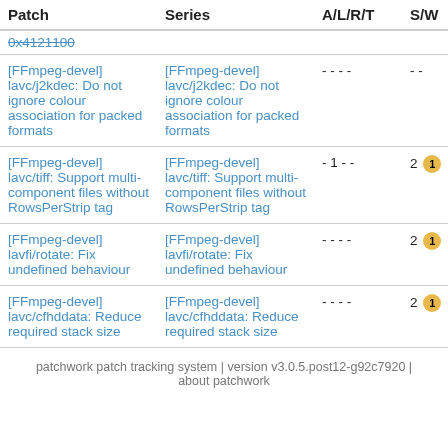| Patch | Series | A/L/R/T | S/W |
| --- | --- | --- | --- |
| 0x4121100 (truncated/strikethrough) |  |  |  |
| [FFmpeg-devel] lavc/j2kdec: Do not ignore colour association for packed formats | [FFmpeg-devel] lavc/j2kdec: Do not ignore colour association for packed formats | - - - - | - - |
| [FFmpeg-devel] lavc/tiff: Support multi-component files without RowsPerStrip tag | [FFmpeg-devel] lavc/tiff: Support multi-component files without RowsPerStrip tag | - 1 - - | 2 1 |
| [FFmpeg-devel] lavfi/rotate: Fix undefined behaviour | [FFmpeg-devel] lavfi/rotate: Fix undefined behaviour | - - - - | 2 1 |
| [FFmpeg-devel] lavc/cfhddata: Reduce required stack size | [FFmpeg-devel] lavc/cfhddata: Reduce required stack size | - - - - | 2 1 |
patchwork patch tracking system | version v3.0.5.post12-g92c7920 | about patchwork